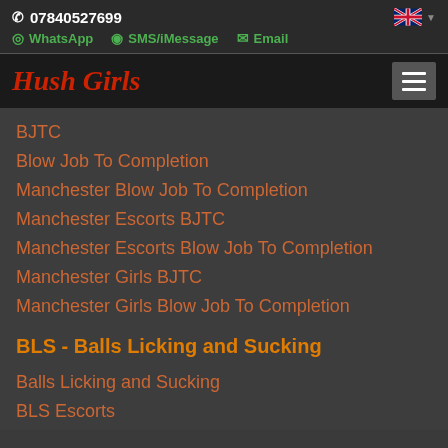07840527699
WhatsApp  SMS/iMessage  Email
Hush Girls
BJTC
Blow Job To Completion
Manchester Blow Job To Completion
Manchester Escorts BJTC
Manchester Escorts Blow Job To Completion
Manchester Girls BJTC
Manchester Girls Blow Job To Completion
BLS - Balls Licking and Sucking
Balls Licking and Sucking
BLS Escorts